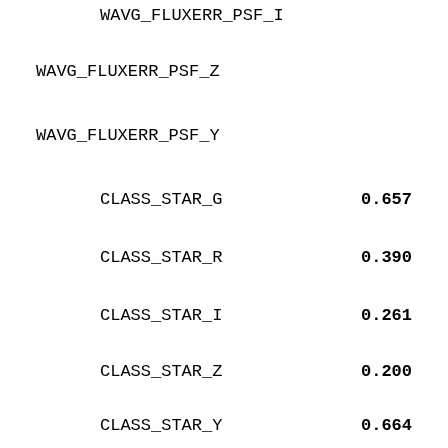WAVG_FLUXERR_PSF_I
WAVG_FLUXERR_PSF_Z
WAVG_FLUXERR_PSF_Y
CLASS_STAR_G    0.657
CLASS_STAR_R    0.390
CLASS_STAR_I    0.261
CLASS_STAR_Z    0.200
CLASS_STAR_Y    0.664